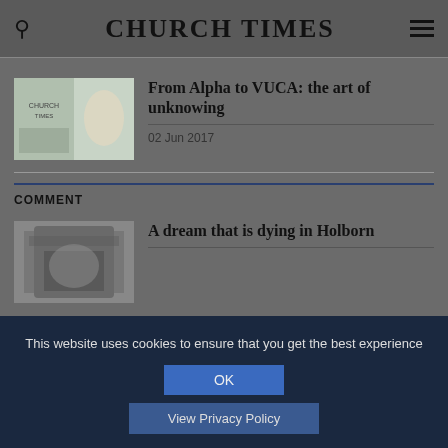CHURCH TIMES
[Figure (illustration): Thumbnail illustration for article about Alpha and VUCA]
From Alpha to VUCA: the art of unknowing
02 Jun 2017
COMMENT
[Figure (photo): Thumbnail photo for article about a dream dying in Holborn]
A dream that is dying in Holborn
This website uses cookies to ensure that you get the best experience